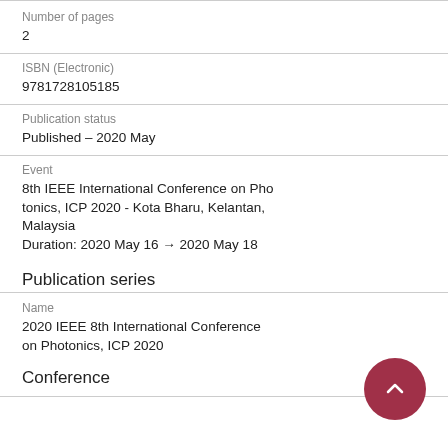Number of pages
2
ISBN (Electronic)
9781728105185
Publication status
Published – 2020 May
Event
8th IEEE International Conference on Photonics, ICP 2020 - Kota Bharu, Kelantan, Malaysia
Duration: 2020 May 16 → 2020 May 18
Publication series
Name
2020 IEEE 8th International Conference on Photonics, ICP 2020
Conference